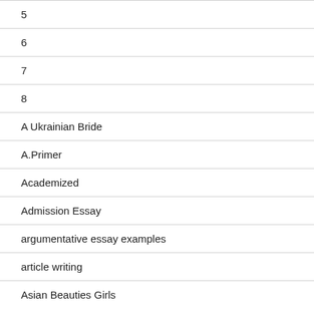5
6
7
8
A Ukrainian Bride
A.Primer
Academized
Admission Essay
argumentative essay examples
article writing
Asian Beauties Girls